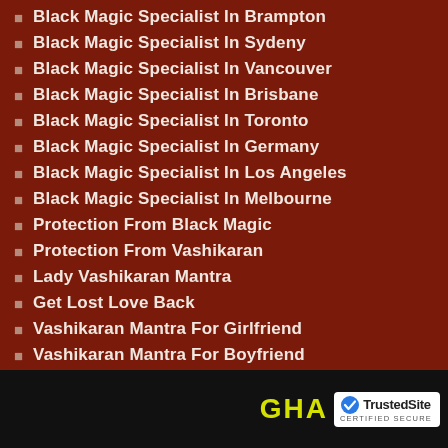Black Magic Specialist In Brampton
Black Magic Specialist In Sydeny
Black Magic Specialist In Vancouver
Black Magic Specialist In Brisbane
Black Magic Specialist In Toronto
Black Magic Specialist In Germany
Black Magic Specialist In Los Angeles
Black Magic Specialist In Melbourne
Protection From Black Magic
Protection From Vashikaran
Lady Vashikaran Mantra
Get Lost Love Back
Vashikaran Mantra For Girlfriend
Vashikaran Mantra For Boyfriend
GHA TrustedSite CERTIFIED SECURE